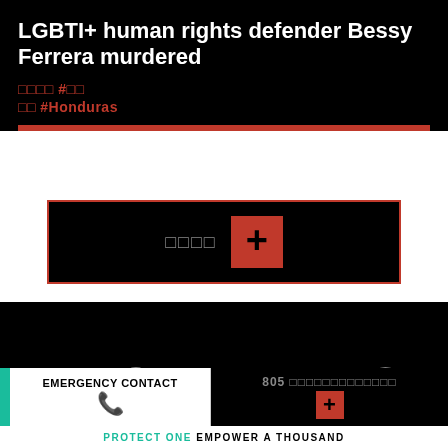LGBTI+ human rights defender Bessy Ferrera murdered
□□□□ #□□
□□ #Honduras
[Figure (infographic): Black box with red border containing action text and red plus symbol button]
[Figure (infographic): Black section with large white #HONDURAS text]
EMERGENCY CONTACT
805 □□□□□□□□□□□□□
PROTECT ONE EMPOWER A THOUSAND